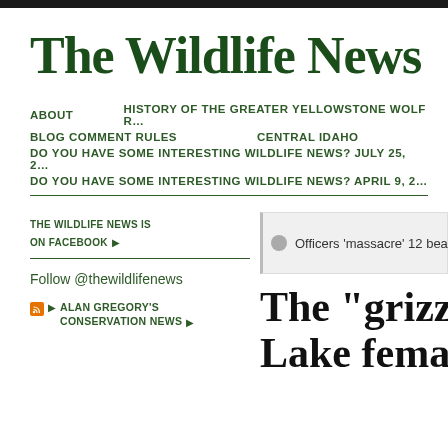The Wildlife News
ABOUT
HISTORY OF THE GREATER YELLOWSTONE WOLF R…
BLOG COMMENT RULES
CENTRAL IDAHO
DO YOU HAVE SOME INTERESTING WILDLIFE NEWS? JULY 25, 2…
DO YOU HAVE SOME INTERESTING WILDLIFE NEWS? APRIL 9, 2…
THE WILDLIFE NEWS IS ON FACEBOOK ▶
Officers 'massacre' 12 bears at north…
Follow @thewildlifenews
▶ ALAN GREGORY'S CONSERVATION NEWS ▶
The "grizzly-w… Lake female